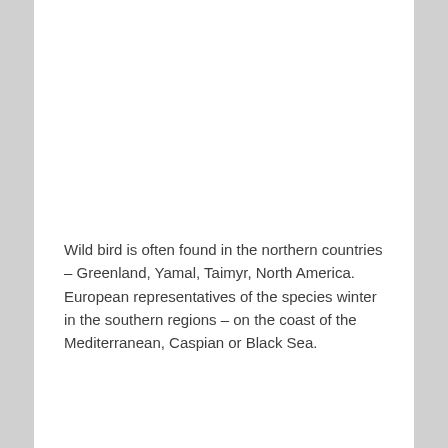Wild bird is often found in the northern countries – Greenland, Yamal, Taimyr, North America. European representatives of the species winter in the southern regions – on the coast of the Mediterranean, Caspian or Black Sea.